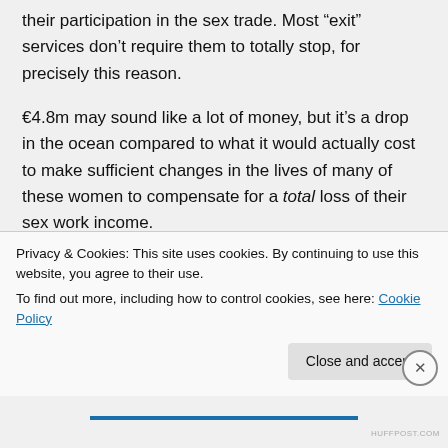their participation in the sex trade. Most “exit” services don’t require them to totally stop, for precisely this reason.
€4.8m may sound like a lot of money, but it’s a drop in the ocean compared to what it would actually cost to make sufficient changes in the lives of many of these women to compensate for a total loss of their sex work income.
Privacy & Cookies: This site uses cookies. By continuing to use this website, you agree to their use.
To find out more, including how to control cookies, see here: Cookie Policy